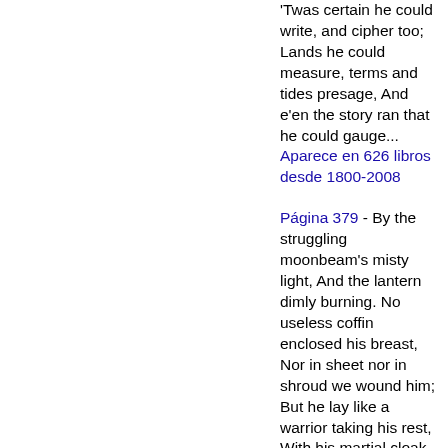'Twas certain he could write, and cipher too; Lands he could measure, terms and tides presage, And e'en the story ran that he could gauge...
Aparece en 626 libros desde 1800-2008
Página 379 - By the struggling moonbeam's misty light, And the lantern dimly burning. No useless coffin enclosed his breast, Nor in sheet nor in shroud we wound him; But he lay like a warrior taking his rest, With his martial cloak around him.
Aparece en 811 libros desde 1758-2008